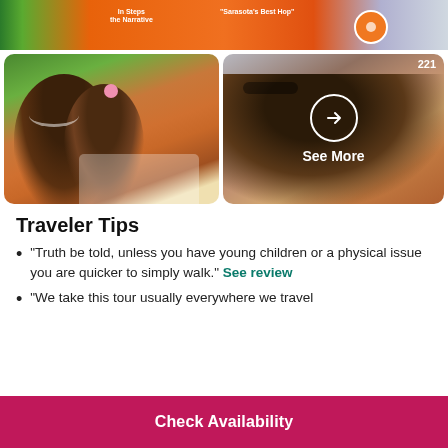[Figure (photo): Orange tour bus at top of page, partially cropped]
[Figure (photo): Woman and young girl smiling together outdoors, selfie style]
[Figure (photo): Woman smiling with sunglasses, with a 'See More' circular arrow overlay and number 221 visible]
Traveler Tips
"Truth be told, unless you have young children or a physical issue you are quicker to simply walk." See review
"We take this tour usually everywhere we travel
Check Availability